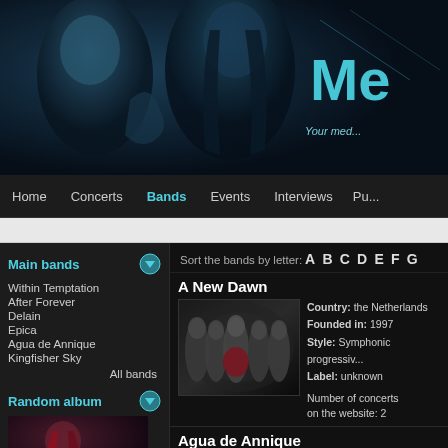[Figure (photo): Website header banner with heavy metal band members performing, dark blue tinted photo with website logo 'Me...' and tagline 'Your med...' visible at top right]
Home  Concerts  Bands  Events  Interviews  Pu...
Main bands
Within Temptation
After Forever
Delain
Epica
Agua de Annique
Kingfisher Sky
All bands
Random album
[Figure (photo): Random album cover photo showing a female singer with dark red hair]
Sort the bands by letter: A  B  C  D  E  F  G
A New Dawn
[Figure (photo): Band photo of A New Dawn showing five band members in a tunnel/corridor setting]
Country: the Netherlands
Founded in: 1997
Style: Symphonic progressive
Label: unknown

Number of concerts on the website: 2
Agua de Annique